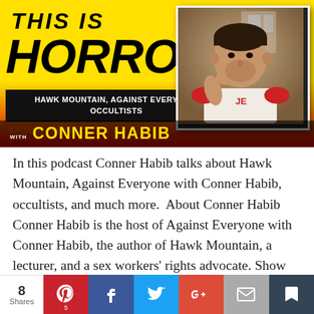[Figure (illustration): Podcast banner for 'This Is Horror' podcast episode 448 with Conner Habib. Yellow-to-red gradient background, bold horror-style logo text, black subtitle bar reading 'Hawk Mountain, Against Everyone, Occultists', photo of Conner Habib in red-sleeved shirt, guest name in yellow text.]
In this podcast Conner Habib talks about Hawk Mountain, Against Everyone with Conner Habib, occultists, and much more.  About Conner Habib Conner Habib is the host of Against Everyone with Conner Habib, the author of Hawk Mountain, a lecturer, and a sex workers' rights advocate. Show notes Click the timestamps to jump straight to